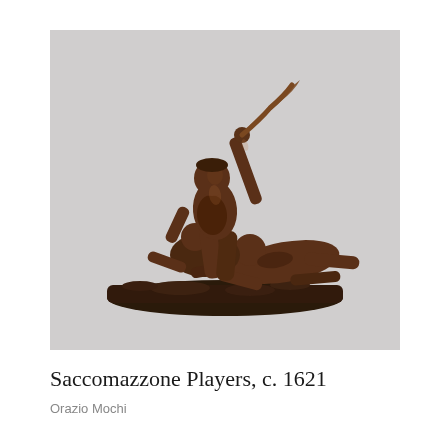[Figure (photo): Photograph of a bronze sculpture titled 'Saccomazzone Players, c. 1621' by Orazio Mochi. The sculpture depicts three figures in dynamic struggle: one standing figure raises his arm with a cloth or sack, while two other figures are crouched or fallen below him on a base. The bronze has a rich dark brown patina. Background is a neutral light grey.]
Saccomazzone Players, c. 1621
Orazio Mochi